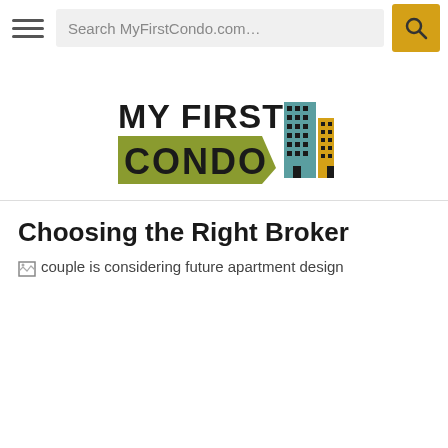Search MyFirstCondo.com…
[Figure (logo): My First Condo logo with building illustrations in teal and gold colors]
Choosing the Right Broker
[Figure (photo): couple is considering future apartment design (broken image placeholder)]